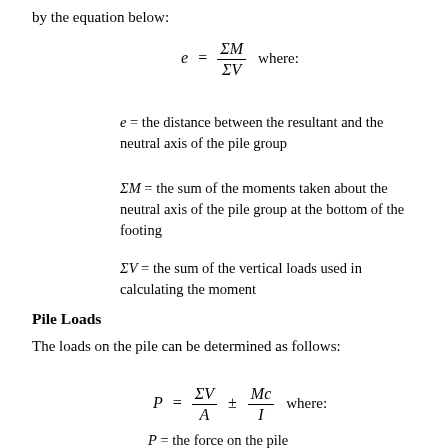by the equation below:
e = the distance between the resultant and the neutral axis of the pile group
ΣM = the sum of the moments taken about the neutral axis of the pile group at the bottom of the footing
ΣV = the sum of the vertical loads used in calculating the moment
Pile Loads
The loads on the pile can be determined as follows:
P = the force on the pile
A = the number of all the piles in the group